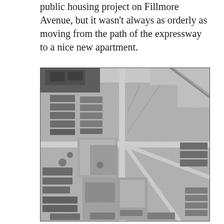public housing project on Fillmore Avenue, but it wasn't always as orderly as moving from the path of the expressway to a nice new apartment.
[Figure (photo): Black and white aerial photograph of an urban neighborhood showing streets, cleared lots, and buildings under demolition or construction, likely related to expressway displacement and public housing development.]